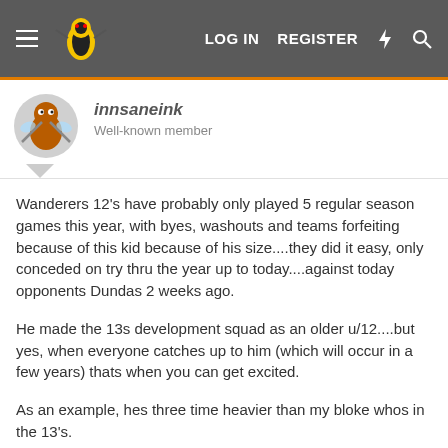LOG IN  REGISTER
innsaneink
Well-known member
Wanderers 12's have probably only played 5 regular season games this year, with byes, washouts and teams forfeiting because of this kid because of his size....they did it easy, only conceded on try thru the year up to today....against today opponents Dundas 2 weeks ago.
He made the 13s development squad as an older u/12....but yes, when everyone catches up to him (which will occur in a few years) thats when you can get excited.
As an example, hes three time heavier than my bloke whos in the 13's.
How did the 13's go?